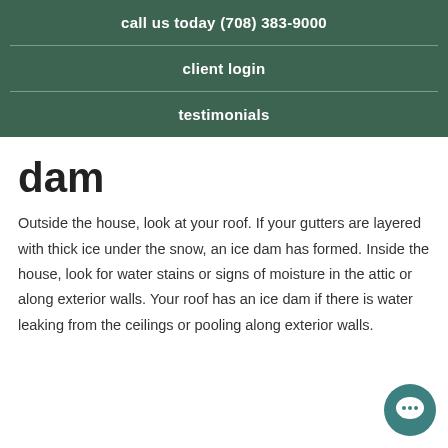call us today (708) 383-9000
client login
testimonials
dam
Outside the house, look at your roof. If your gutters are layered with thick ice under the snow, an ice dam has formed. Inside the house, look for water stains or signs of moisture in the attic or along exterior walls. Your roof has an ice dam if there is water leaking from the ceilings or pooling along exterior walls.